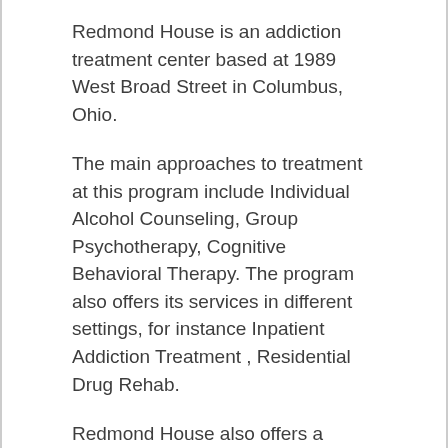Redmond House is an addiction treatment center based at 1989 West Broad Street in Columbus, Ohio.
The main approaches to treatment at this program include Individual Alcohol Counseling, Group Psychotherapy, Cognitive Behavioral Therapy. The program also offers its services in different settings, for instance Inpatient Addiction Treatment , Residential Drug Rehab.
Redmond House also offers a number of programs that are tailored to meet the needs of specific individuals such as: Addiction Treatment for Persons with Co-Occurring Mental and Substance Use Disorders. Lastly,